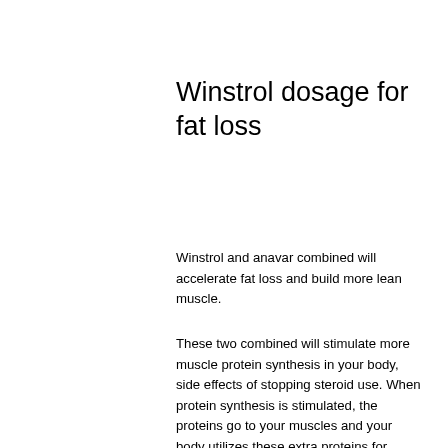Winstrol dosage for fat loss
Winstrol and anavar combined will accelerate fat loss and build more lean muscle.
These two combined will stimulate more muscle protein synthesis in your body, side effects of stopping steroid use. When protein synthesis is stimulated, the proteins go to your muscles and your body utilizes these extra proteins for energy, and this is one of the reasons why consuming a high protein diet is so important.
These can be taken with every meal with or without the pre-workout: 4 – 6g of Starch + 2, winstrol vs anavar fat loss.5 – 3g of an easy